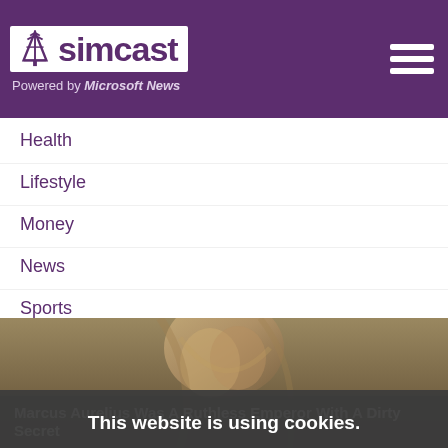simcast — Powered by Microsoft News
Health
Lifestyle
Money
News
Sports
Travel
Videos
[Figure (photo): Statue of Marcus Aurelius, a Roman sculpture with detailed curly hair and beard]
Marcus Aurelius Was A Ruthless Emperor With A Dirty Secret
This website is using cookies. We use them to give you the best experience. If you continue using our website, we will assume that you are happy to receive all cookies on this website.
Continue | Learn more